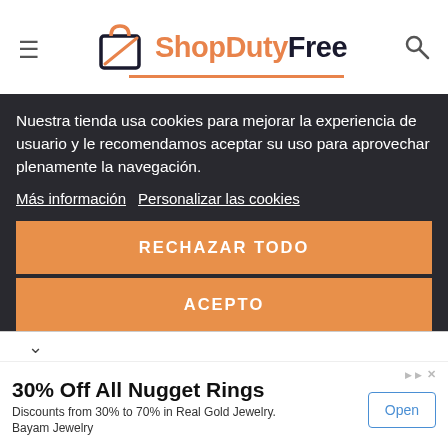[Figure (logo): ShopDutyFree logo with shopping bag icon in dark/orange colors, orange underline. Menu hamburger icon on left, search icon on right.]
Nuestra tienda usa cookies para mejorar la experiencia de usuario y le recomendamos aceptar su uso para aprovechar plenamente la navegación.
Más información   Personalizar las cookies
RECHAZAR TODO
ACEPTO
30% Off All Nugget Rings
Discounts from 30% to 70% in Real Gold Jewelry.
Bayam Jewelry